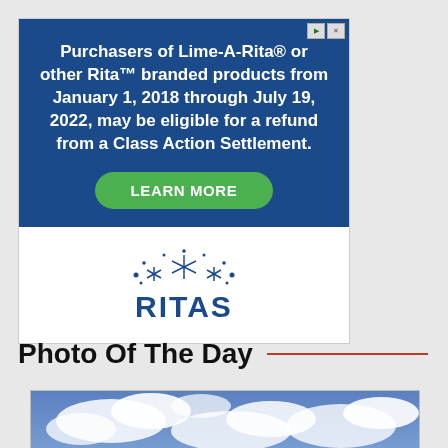[Figure (infographic): Advertisement banner for Ritas class action settlement. Blue top section with bold white text: 'Purchasers of Lime-A-Rita® or other Rita™ branded products from January 1, 2018 through July 19, 2022, may be eligible for a refund from a Class Action Settlement.' with a green 'LEARN MORE' button. White bottom section with Ritas brand logo (sparkle/star decoration above 'RITAS' in blue).]
Photo Of The Day
[Figure (photo): Photo of blue sky with white clouds, partially visible at bottom of page.]